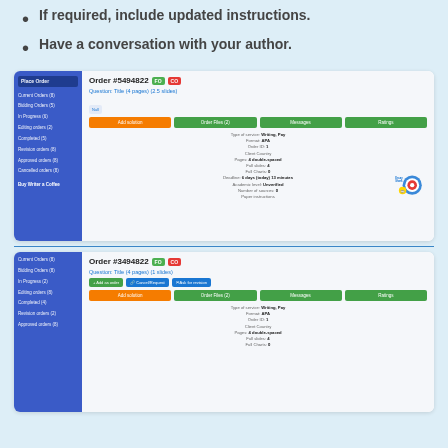If required, include updated instructions.
Have a conversation with your author.
[Figure (screenshot): Screenshot of an order management interface showing Order #5494822 with FO and CO badges, a question link, action buttons (Add solution, Order Files, Messages, Ratings), and order details including type, format, order ID, client country, pages, word count, full slides, deadline, academic level, number of sources, and paper instructions. An EssayShark logo watermark appears in the bottom right.]
[Figure (screenshot): Second screenshot of the same order management interface showing Order #3494822 with FO and CO badges, a question link, additional action buttons (Add as order, Cancel/Request, Ask for revision), and the same set of main action buttons (Add solution, Order Files, Messages, Ratings), and similar order details fields.]